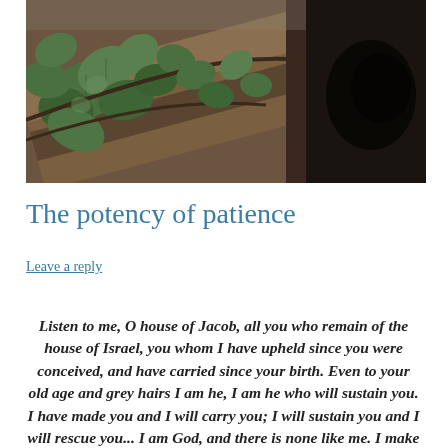[Figure (photo): Close-up photo of ivy leaves on wooden fence/log, dark background on right side]
The potency of patience
Leave a reply
Listen to me, O house of Jacob, all you who remain of the house of Israel, you whom I have upheld since you were conceived, and have carried since your birth. Even to your old age and grey hairs I am he, I am he who will sustain you. I have made you and I will carry you; I will sustain you and I will rescue you... I am God, and there is none like me. I make